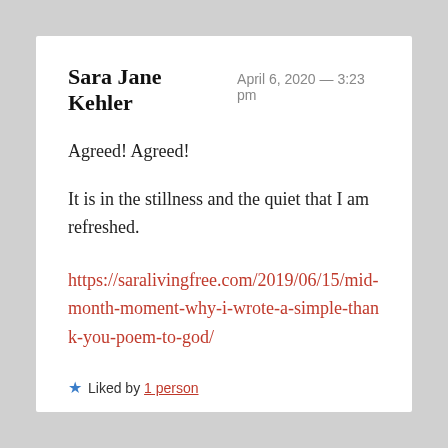Sara Jane Kehler  April 6, 2020 — 3:23 pm
Agreed! Agreed!
It is in the stillness and the quiet that I am refreshed.
https://saralivingfree.com/2019/06/15/mid-month-moment-why-i-wrote-a-simple-thank-you-poem-to-god/
★ Liked by 1 person